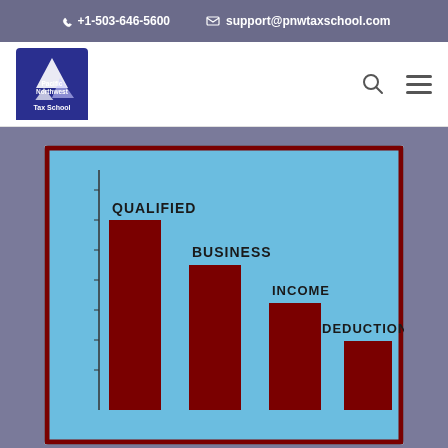+1-503-646-5600   support@pnwtaxschool.com
[Figure (logo): Pacific Northwest Tax School logo with mountain graphic]
[Figure (bar-chart): Descending bar chart with four bars labeled QUALIFIED, BUSINESS, INCOME, DEDUCTION on a light blue background with dark red border. Bars decrease in height left to right.]